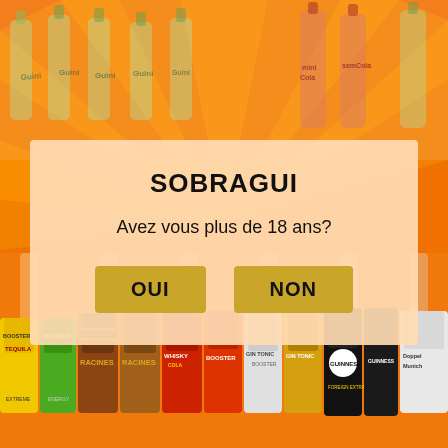[Figure (illustration): Age verification modal overlay for SOBRAGUI website. Orange sunburst background with rows of beverage bottles (Guini, Coke variants) at top and branded beer/drink cans and bottles (Booster, Racines, Whisky, Gin Tonic, Guinness, Doppel Munich) at bottom. Central white-tinted panel with bold title and two gold buttons.]
SOBRAGUI
Avez vous plus de 18 ans?
OUI
NON